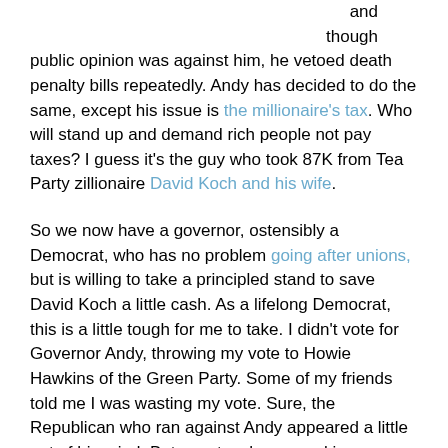and though public opinion was against him, he vetoed death penalty bills repeatedly. Andy has decided to do the same, except his issue is the millionaire's tax. Who will stand up and demand rich people not pay taxes? I guess it's the guy who took 87K from Tea Party zillionaire David Koch and his wife.
So we now have a governor, ostensibly a Democrat, who has no problem going after unions, but is willing to take a principled stand to save David Koch a little cash. As a lifelong Democrat, this is a little tough for me to take. I didn't vote for Governor Andy, throwing my vote to Howie Hawkins of the Green Party. Some of my friends told me I was wasting my vote. Sure, the Republican who ran against Andy appeared a little out of his mind. But as a teacher, a working person, a unionist, how can I vote for someone who swears to go after unions? With Democrats like those, who needs Republicans?
I'm going to call Governor Andy's office and express outrage that, with schools being cut, teachers being laid off, and working people...